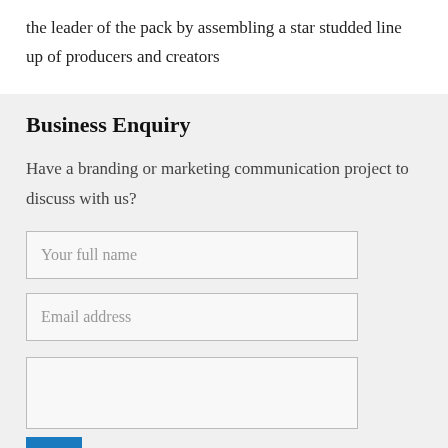the leader of the pack by assembling a star studded line up of producers and creators
Business Enquiry
Have a branding or marketing communication project to discuss with us?
Your full name
Email address